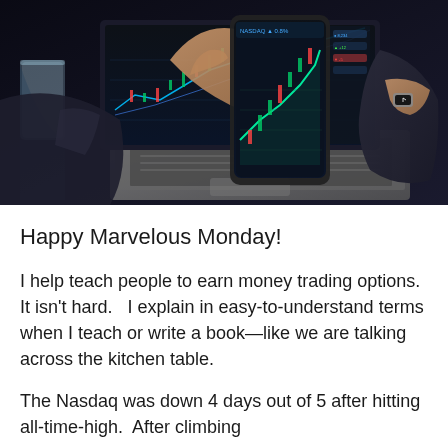[Figure (photo): Person holding a smartphone showing financial trading charts with candlestick graphs, in front of an open laptop also displaying trading charts. A glass of water is visible on the left. The person is wearing a suit.]
Happy Marvelous Monday!
I help teach people to earn money trading options. It isn't hard.   I explain in easy-to-understand terms when I teach or write a book—like we are talking across the kitchen table.
The Nasdaq was down 4 days out of 5 after hitting all-time-high.  After climbing